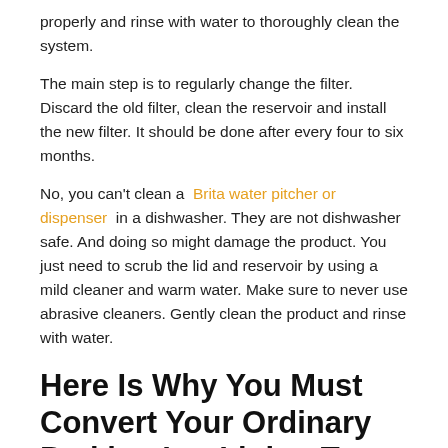properly and rinse with water to thoroughly clean the system.
The main step is to regularly change the filter. Discard the old filter, clean the reservoir and install the new filter. It should be done after every four to six months.
No, you can't clean a Brita water pitcher or dispenser in a dishwasher. They are not dishwasher safe. And doing so might damage the product. You just need to scrub the lid and reservoir by using a mild cleaner and warm water. Make sure to never use abrasive cleaners. Gently clean the product and rinse with water.
Here Is Why You Must Convert Your Ordinary Parking Lot Lights To Led Now
Published